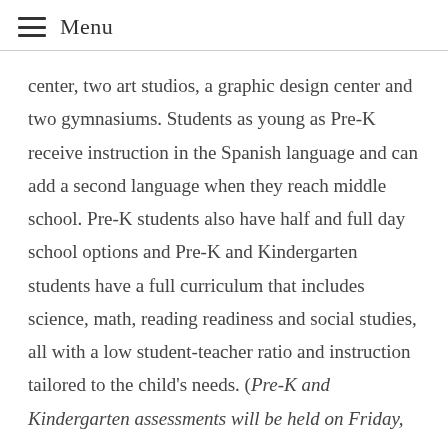Menu
center, two art studios, a graphic design center and two gymnasiums. Students as young as Pre-K receive instruction in the Spanish language and can add a second language when they reach middle school. Pre-K students also have half and full day school options and Pre-K and Kindergarten students have a full curriculum that includes science, math, reading readiness and social studies, all with a low student-teacher ratio and instruction tailored to the child’s needs. (Pre-K and Kindergarten assessments will be held on Friday,